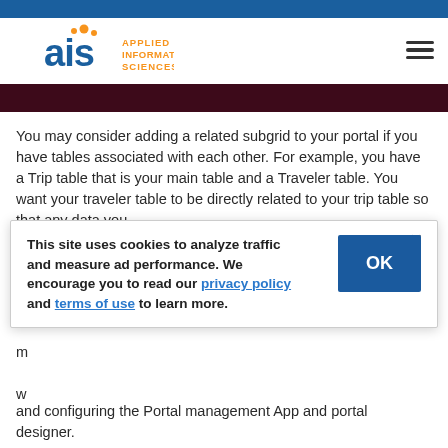AIS - Applied Information Sciences
[Figure (illustration): Dark maroon/red horizontal banner image]
You may consider adding a related subgrid to your portal if you have tables associated with each other. For example, you have a Trip table that is your main table and a Traveler table. You want your traveler table to be directly related to your trip table so that any data you add to the Traveler table will automatically be linked to the Trip table.
This site uses cookies to analyze traffic and measure ad performance. We encourage you to read our privacy policy and terms of use to learn more.
and configuring the Portal management App and portal designer.